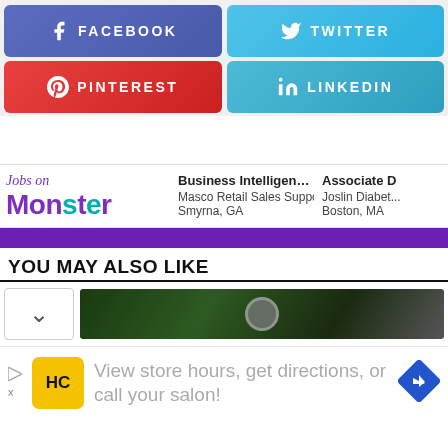[Figure (infographic): Social media share buttons: Facebook (blue-purple), Twitter (light blue), Pinterest (red), LinkedIn (light blue)]
[Figure (infographic): Monster Jobs advertisement widget showing: Jobs on Monster, Business Intelligence Man... Masco Retail Sales Support, Smyrna GA; Associate D... Joslin Diabet... Boston MA]
YOU MAY ALSO LIKE
[Figure (screenshot): Thumbnail image strip with chevron and dark nature/tire image]
[Figure (infographic): HC salon advertisement: View store hours, get directions, or call your salon!]